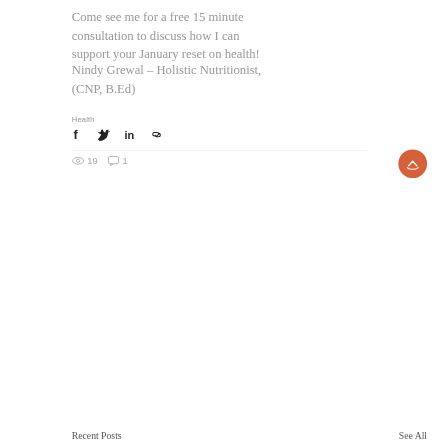Come see me for a free 15 minute consultation to discuss how I can support your January reset on health!
Nindy Grewal – Holistic Nutritionist, (CNP, B.Ed)
Health
[Figure (infographic): Social share icons: Facebook, Twitter, LinkedIn, Link/chain]
19 views, 1 comment
Recent Posts
See All